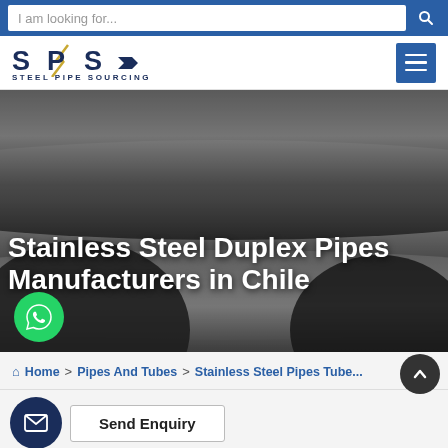[Figure (screenshot): Search bar with placeholder text 'I am looking for...' and a search button on blue background]
[Figure (logo): SPS Steel Pipe Sourcing logo with lightning bolt and menu hamburger button]
[Figure (photo): Hero image of stainless steel duplex pipes, dark grey metallic tubes close-up]
Stainless Steel Duplex Pipes Manufacturers in Chile
[Figure (other): WhatsApp green circle button]
Home > Pipes And Tubes > Stainless Steel Pipes Tube...
[Figure (other): Scroll to top dark circle button with upward chevron]
[Figure (other): Send Enquiry button with mail icon on dark blue circle]